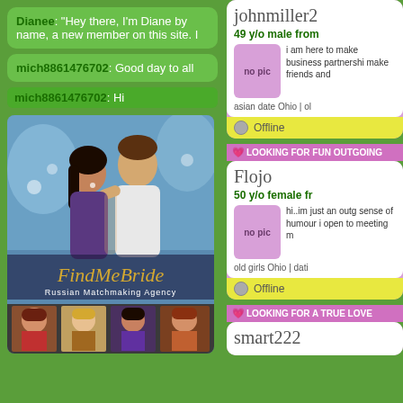Dianee: "Hey there, I'm Diane by name, a new member on this site. I
mich8861476702: Good day to all
mich8861476702: Hi
[Figure (photo): FindMeBride Russian Matchmaking Agency advertisement with couple and women photos]
johnmiller2
49 y/o male from
i am here to make business partnership make friends and
asian date Ohio | ol
Offline
💗LOOKING FOR FUN OUTGOING
Flojo
50 y/o female fr
hi..im just an outg sense of humour i open to meeting m
old girls Ohio | dati
Offline
💗LOOKING FOR A TRUE LOVE
smart222